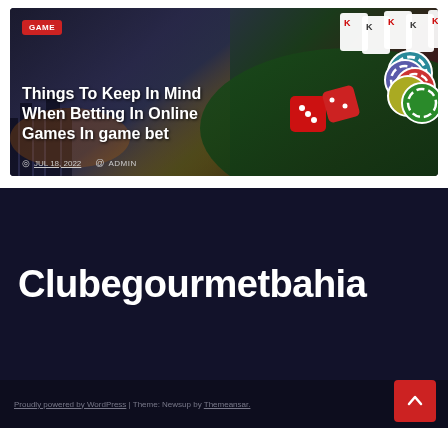[Figure (screenshot): Casino-themed article card with playing cards, poker chips, and red dice on a dark background. Shows a GAME badge, article title, date, and author.]
Things To Keep In Mind When Betting In Online Games In game bet
JUL 18, 2022  ADMIN
Clubegourmetbahia
Proudly powered by WordPress | Theme: Newsup by Themeansar.